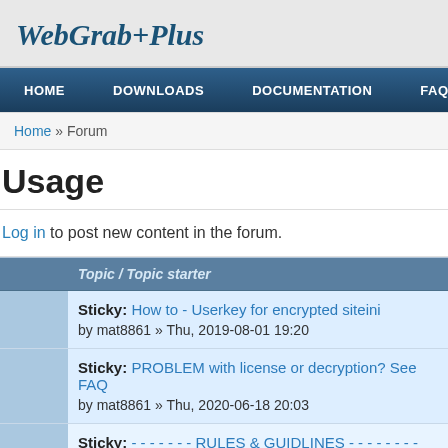WebGrab+Plus
HOME   DOWNLOADS   DOCUMENTATION   FAQ
Home » Forum
Usage
Log in to post new content in the forum.
|  | Topic / Topic starter |
| --- | --- |
|  | Sticky: How to - Userkey for encrypted siteini
by mat8861 » Thu, 2019-08-01 19:20 |
|  | Sticky: PROBLEM with license or decryption? See FAQ
by mat8861 » Thu, 2020-06-18 20:03 |
|  | Sticky: - - - - - - - RULES & GUIDLINES - - - - - - - -
by francis » Thu, 2013-03-21 08:49 |